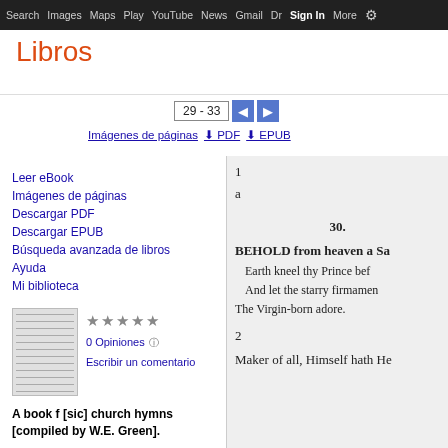Search  Images  Maps  Play  YouTube  News  Gmail  Dr  Sign In  More  ⚙
Libros
29 - 33
Imágenes de páginas  ⬇ PDF  ⬇ EPUB
Leer eBook
Imágenes de páginas
Descargar PDF
Descargar EPUB
Búsqueda avanzada de libros
Ayuda
Mi biblioteca
★★★★★
0 Opiniones ⓘ
Escribir un comentario
A book f [sic] church hymns [compiled by W.E. Green].
[Figure (screenshot): Book page showing hymn 30: BEHOLD from heaven a Sa... / Earth kneel thy Prince bef... / And let the starry firmamen... / The Virgin-born adore. / 2 / Maker of all, Himself hath He]
1
a
30.
BEHOLD from heaven a Sa
Earth kneel thy Prince bef
And let the starry firmamen
The Virgin-born adore.
2
Maker of all, Himself hath He